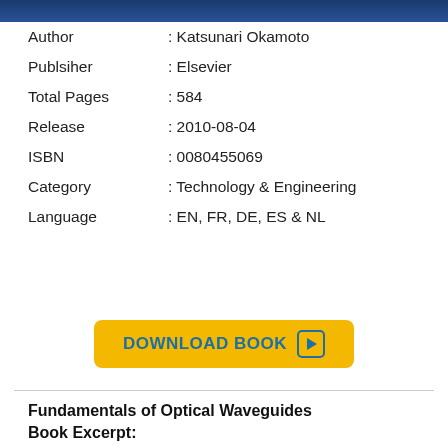[Figure (photo): Book cover image partial view — blue background]
| Author | : Katsunari Okamoto |
| Publsiher | : Elsevier |
| Total Pages | : 584 |
| Release | : 2010-08-04 |
| ISBN | : 0080455069 |
| Category | : Technology & Engineering |
| Language | : EN, FR, DE, ES & NL |
[Figure (other): Yellow DOWNLOAD BOOK button with play icon]
Fundamentals of Optical Waveguides Book Excerpt:
Fundamentals of Optical Waveguides is an essential resource for any researcher,